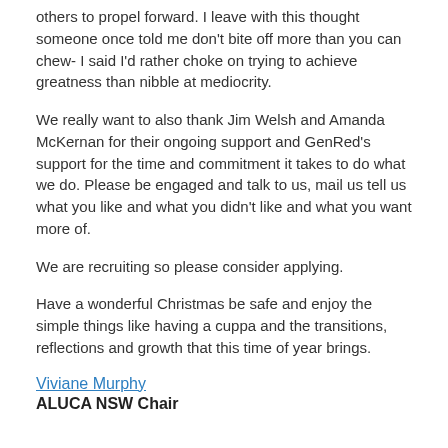others to propel forward. I leave with this thought someone once told me don't bite off more than you can chew- I said I'd rather choke on trying to achieve greatness than nibble at mediocrity.
We really want to also thank Jim Welsh and Amanda McKernan for their ongoing support and GenRed's support for the time and commitment it takes to do what we do. Please be engaged and talk to us, mail us tell us what you like and what you didn't like and what you want more of.
We are recruiting so please consider applying.
Have a wonderful Christmas be safe and enjoy the simple things like having a cuppa and the transitions, reflections and growth that this time of year brings.
Viviane Murphy
ALUCA NSW Chair